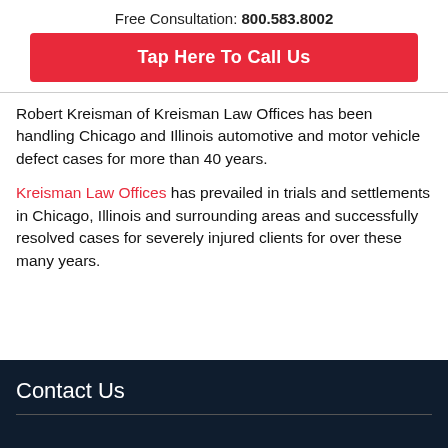Free Consultation: 800.583.8002
Tap Here To Call Us
Robert Kreisman of Kreisman Law Offices has been handling Chicago and Illinois automotive and motor vehicle defect cases for more than 40 years.
Kreisman Law Offices has prevailed in trials and settlements in Chicago, Illinois and surrounding areas and successfully resolved cases for severely injured clients for over these many years.
Contact Us